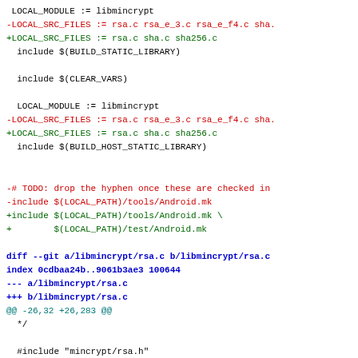Code diff showing changes to libmincrypt Android.mk and rsa.c files, including removal of rsa_e_3.c and rsa_e_f4.c source files, addition of sha.c and sha256.c, new include paths, and git diff header for rsa.c showing added sha includes and removal of RSA_e_f4_verify function.